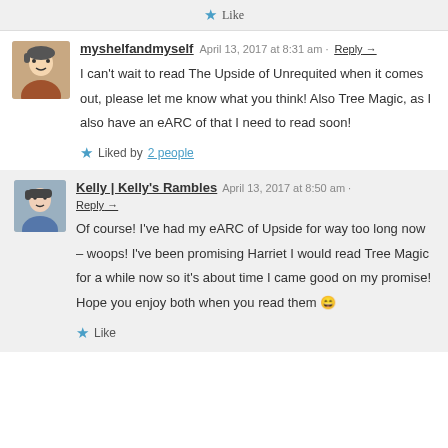Like
myshelfandmyself  April 13, 2017 at 8:31 am · Reply
I can't wait to read The Upside of Unrequited when it comes out, please let me know what you think! Also Tree Magic, as I also have an eARC of that I need to read soon!
Liked by 2 people
Kelly | Kelly's Rambles  April 13, 2017 at 8:50 am · Reply
Of course! I've had my eARC of Upside for way too long now – woops! I've been promising Harriet I would read Tree Magic for a while now so it's about time I came good on my promise! Hope you enjoy both when you read them 😄
Like